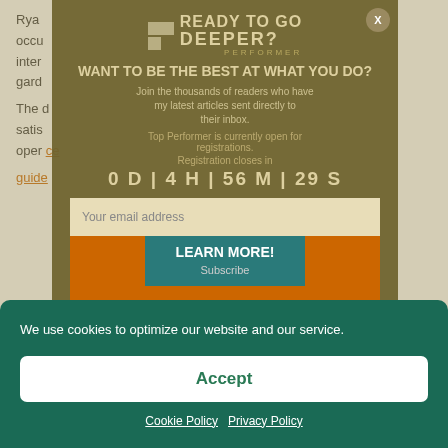Rya... occu... inter... gard...
The d... satis... oper...
[Figure (screenshot): Newsletter signup modal overlay with 'Ready to Go Deeper?' headline, Top Performer branding, countdown timer showing 0 D | 4 H | 56 M | 29 S, email input field, and Subscribe/Learn More button]
We use cookies to optimize our website and our service.
Accept
Cookie Policy   Privacy Policy